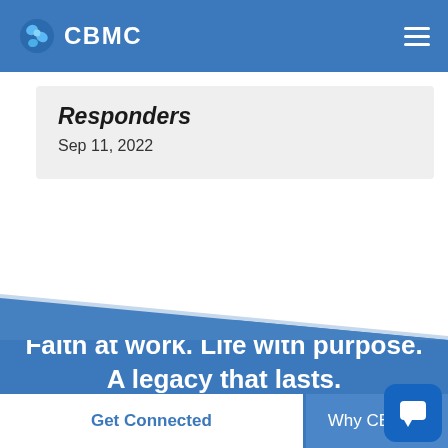CBMC
Responders
Sep 11, 2022
Faith at work. Life with purpose. A legacy that lasts.
Get Connected
Why CBMC?